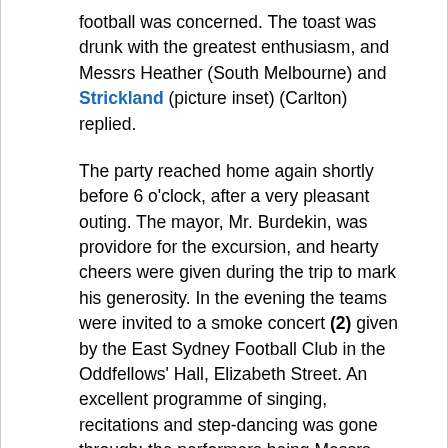football was concerned. The toast was drunk with the greatest enthusiasm, and Messrs Heather (South Melbourne) and Strickland (picture inset) (Carlton) replied.
The party reached home again shortly before 6 o'clock, after a very pleasant outing. The mayor, Mr. Burdekin, was providore for the excursion, and hearty cheers were given during the trip to mark his generosity. In the evening the teams were invited to a smoke concert (2) given by the East Sydney Football Club in the Oddfellows' Hall, Elizabeth Street. An excellent programme of singing, recitations and step-dancing was gone through; the performers being Messrs. Forbes, Fernberg, Gannon, Commings, Maxwell, Evans, Newlyn, Dess, Doran and Teece. Mr C.Hall was the pianist, and the Brittanie band played several selections.